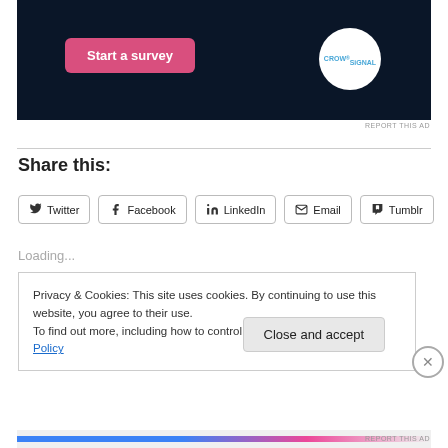[Figure (screenshot): Dark navy advertisement banner with a pink 'Start a survey' button on the left and Crowdsignal circular logo on the right]
REPORT THIS AD
Share this:
Twitter
Facebook
LinkedIn
Email
Tumblr
Loading...
Privacy & Cookies: This site uses cookies. By continuing to use this website, you agree to their use.
To find out more, including how to control cookies, see here: Cookie Policy
Close and accept